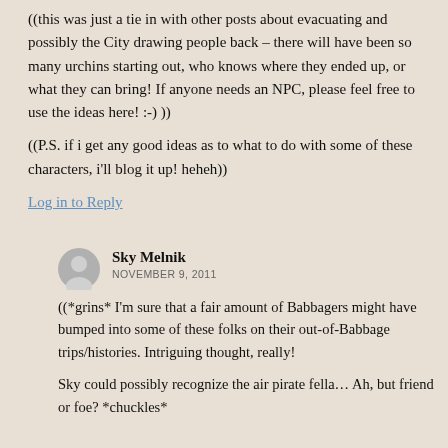((this was just a tie in with other posts about evacuating and possibly the City drawing people back – there will have been so many urchins starting out, who knows where they ended up, or what they can bring! If anyone needs an NPC, please feel free to use the ideas here! :-) ))
((P.S. if i get any good ideas as to what to do with some of these characters, i'll blog it up! heheh))
Log in to Reply
Sky Melnik
NOVEMBER 9, 2011
((*grins* I'm sure that a fair amount of Babbagers might have bumped into some of these folks on their out-of-Babbage trips/histories. Intriguing thought, really!
Sky could possibly recognize the air pirate fella… Ah, but friend or foe? *chuckles*